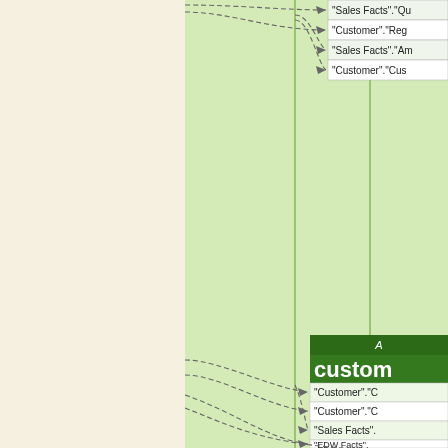[Figure (flowchart): Data lineage / entity relationship diagram showing dashed arrows connecting from two vertical green column lines (representing data pipeline stages) to entity attribute labels on the right side. Two entity boxes are visible: 'customer' and 'product', each with a dark green header labeled 'A' and multiple attribute rows such as "Customer"."Reg", "Sales Facts"."Am", "Customer"."Cus", "Customer"."C", "Sales Facts"."..", "EDW Facts"."..", "Customer"."P", "EDW Facts"."Amo", "EDW Facts"."Qua", "Sales Facts"."C". The left portion of the page has a cream/off-white background. The diagram background is light green.]